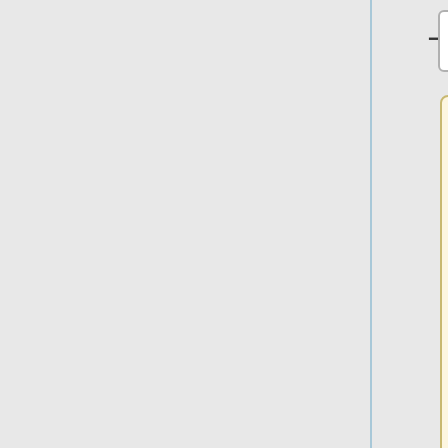Creating new objects is always with a default setup, manipulation of options is a consecutive step. Manipulation is done through a double click on the object, which in some cases (drawn objects) opens a nodes menu for further manipulation or enters the field for manipulation